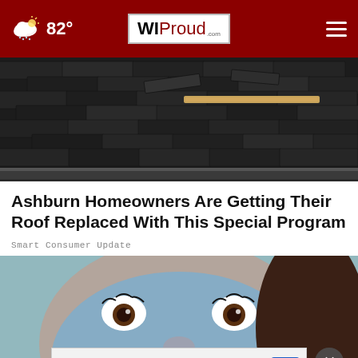82° | WI Proud .com
[Figure (photo): Damaged roof shingles, old and worn, with a wooden board visible]
Ashburn Homeowners Are Getting Their Roof Replaced With This Special Program
Smart Consumer Update
[Figure (photo): Close-up of a person's face with a blue clay/charcoal face mask applied]
[Figure (screenshot): Petco advertisement: In-store shopping, Curbside pickup]